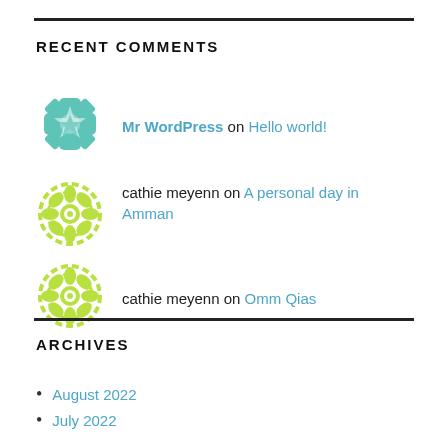RECENT COMMENTS
Mr WordPress on Hello world!
cathie meyenn on A personal day in Amman
cathie meyenn on Omm Qias
ARCHIVES
August 2022
July 2022